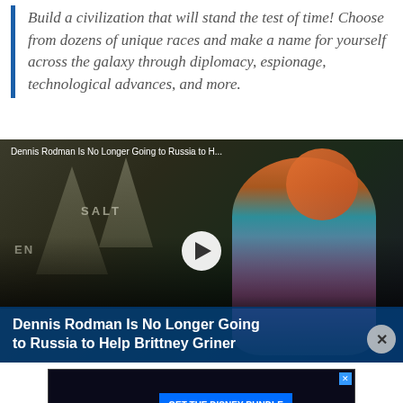Build a civilization that will stand the test of time! Choose from dozens of unique races and make a name for yourself across the galaxy through diplomacy, espionage, technological advances, and more.
[Figure (screenshot): Video thumbnail showing Dennis Rodman with orange hair wearing a teal and pink basketball jersey, with a play button overlay and title text overlay reading 'Dennis Rodman Is No Longer Going to Russia to Help Brittney Griner'. Top bar shows title 'Dennis Rodman Is No Longer Going to Russia to H...']
[Figure (screenshot): Advertisement for Disney Bundle showing Hulu, Disney+, and ESPN+ logos on dark background with blue 'GET THE DISNEY BUNDLE' call-to-action button. Fine print: 'Incl. Hulu (ad-supported) or Hulu (No Ads). Access content from each service separately. ©2021 Disney and its related entities.']